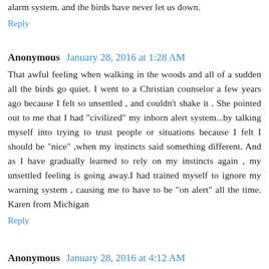alarm system. and the birds have never let us down.
Reply
Anonymous  January 28, 2016 at 1:28 AM
That awful feeling when walking in the woods and all of a sudden all the birds go quiet. I went to a Christian counselor a few years ago because I felt so unsettled , and couldn't shake it . She pointed out to me that I had "civilized" my inborn alert system...by talking myself into trying to trust people or situations because I felt I should be "nice" ,when my instincts said something different. And as I have gradually learned to rely on my instincts again , my unsettled feeling is going away.I had trained myself to ignore my warning system , causing me to have to be "on alert" all the time. Karen from Michigan
Reply
Anonymous  January 28, 2016 at 4:12 AM
The queen of my goat herd is my alarm of anything amiss